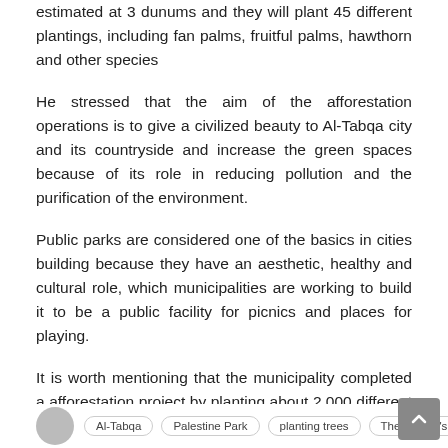estimated at 3 dunums and they will plant 45 different plantings, including fan palms, fruitful palms, hawthorn and other species
He stressed that the aim of the afforestation operations is to give a civilized beauty to Al-Tabqa city and its countryside and increase the green spaces because of its role in reducing pollution and the purification of the environment.
Public parks are considered one of the basics in cities building because they have an aesthetic, healthy and cultural role, which municipalities are working to build it to be a public facility for picnics and places for playing.
It is worth mentioning that the municipality completed a afforestation project by planting about 2,000 different trees throughout the region last year.
SDF Media Center
Al-Tabqa   Palestine Park   planting trees   The People's municipality